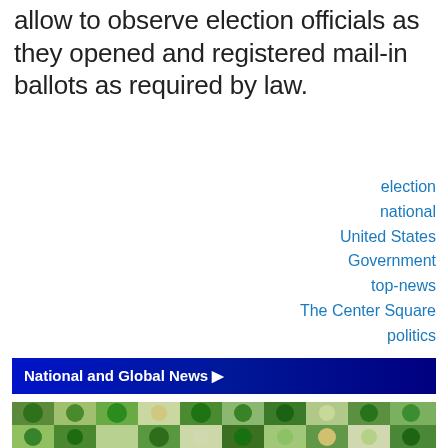allow to observe election officials as they opened and registered mail-in ballots as required by law.
election
national
United States
Government
top-news
The Center Square
politics
National and Global News ▶
[Figure (photo): Aerial satellite view of circular center-pivot irrigation fields in a green agricultural landscape.]